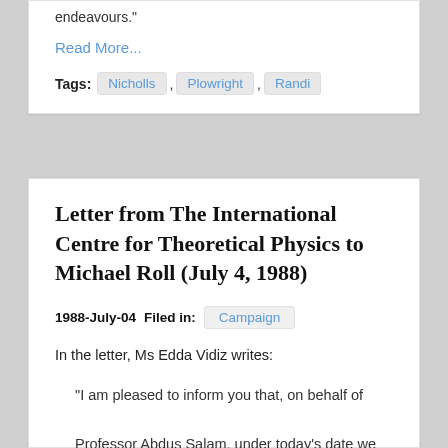endeavours."
Read More...
Tags: Nicholls , Plowright , Randi
Letter from The International Centre for Theoretical Physics to Michael Roll (July 4, 1988)
1988-July-04 Filed in: Campaign
In the letter, Ms Edda Vidiz writes:
"I am pleased to inform you that, on behalf of Professor Abdus Salam, under today's date we